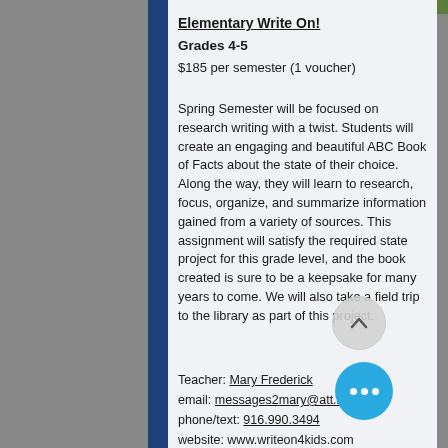Elementary Write On!
Grades 4-5
$185 per semester (1 voucher)
Spring Semester will be focused on research writing with a twist. Students will create an engaging and beautiful ABC Book of Facts about the state of their choice. Along the way, they will learn to research, focus, organize, and summarize information gained from a variety of sources. This assignment will satisfy the required state project for this grade level, and the book created is sure to be a keepsake for many years to come. We will also take a field trip to the library as part of this project.
Teacher: Mary Frederick
email: messages2mary@att.net
phone/text: 916.990.3494
website: www.writeon4kids.com